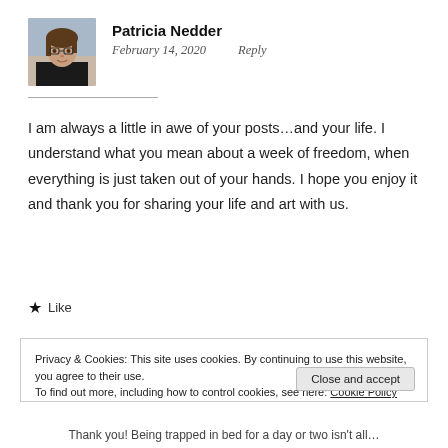[Figure (photo): Profile photo of Patricia Nedder, a woman with glasses and dark hair]
Patricia Nedder
February 14, 2020    Reply
I am always a little in awe of your posts…and your life. I understand what you mean about a week of freedom, when everything is just taken out of your hands. I hope you enjoy it and thank you for sharing your life and art with us.
★ Like
Privacy & Cookies: This site uses cookies. By continuing to use this website, you agree to their use.
To find out more, including how to control cookies, see here: Cookie Policy
Close and accept
Thank you! Being trapped in bed for a day or two isn't all…